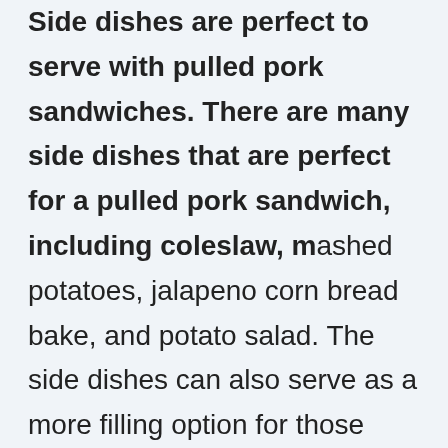it because it will make cleanup difficult. Side dishes are perfect to serve with pulled pork sandwiches. There are many side dishes that are perfect for a pulled pork sandwich, including coleslaw, mashed potatoes, jalapeno corn bread bake, and potato salad. The side dishes can also serve as a more filling option for those who might not be able to eat the entire sandwich in one sitting.